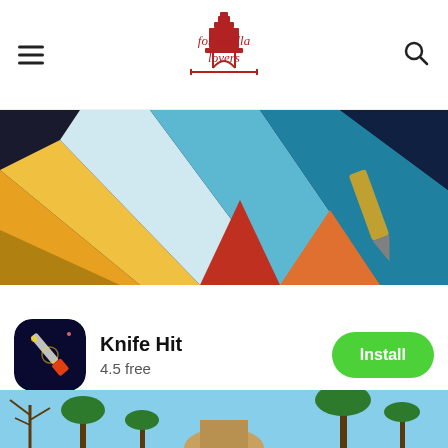For Sevilla Lovers — navigation logo with hamburger menu and search icon
[Figure (photo): Colorful abstract geometric art with shapes in yellow, orange, blue, teal, and dark colors — appears to be a mobile app advertisement banner]
[Figure (infographic): Mobile app advertisement for Knife Hit: app icon showing a knife game on dark background, app name 'Knife Hit', rating '4.5 free', and green Install button]
[Figure (photo): Outdoor photo showing palm trees against a blue sky with a building dome/tower visible in the background — appears to be Seville, Spain]